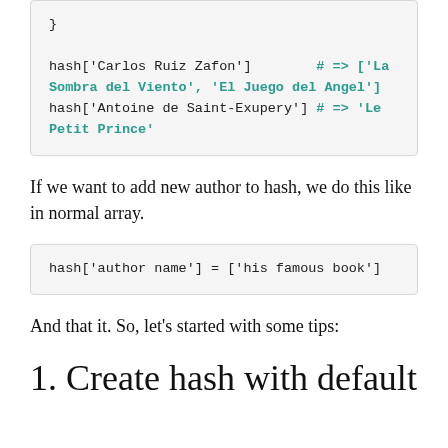[Figure (screenshot): Code block showing hash access examples with comments indicating return values in teal/green text]
If we want to add new author to hash, we do this like in normal array.
[Figure (screenshot): Code block showing hash assignment: hash['author name'] = ['his famous book']]
And that it. So, let's started with some tips:
1. Create hash with default